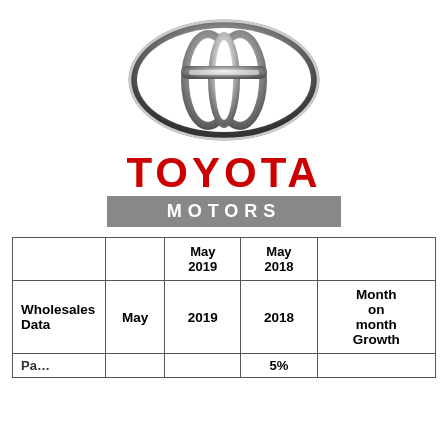[Figure (logo): Toyota Motors logo: silver elliptical Toyota emblem above red TOYOTA text and grey MOTORS bar]
|  |  | May 2019 | May 2018 | Month on month Growth |
| --- | --- | --- | --- | --- |
| Wholesales Data | May | 2019 | 2018 | Month on month Growth |